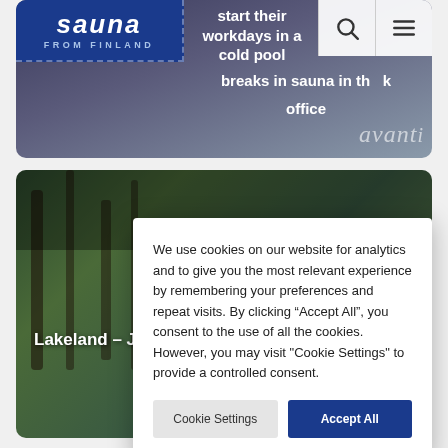[Figure (screenshot): Sauna from Finland website header with logo, navigation icons, and text overlay reading 'start their workdays in a cold pool' and 'breaks in sauna in the office', with 'avanti' branding watermark on a dark purple/chrome background]
[Figure (screenshot): Lakeland article card showing a forest/lakeland background image with 'Lakeland – J' visible text, partially obscured by cookie consent modal]
We use cookies on our website for analytics and to give you the most relevant experience by remembering your preferences and repeat visits. By clicking “Accept All”, you consent to the use of all the cookies. However, you may visit "Cookie Settings" to provide a controlled consent.
Cookie Settings
Accept All